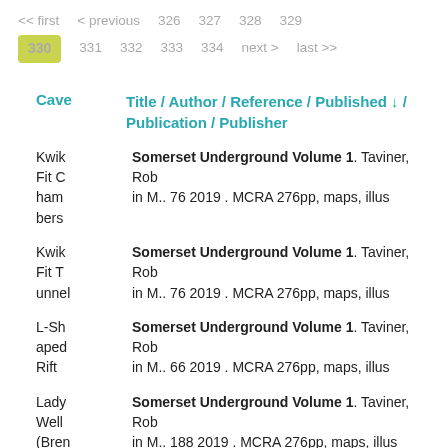<< first  < previous  326  327  328  329  330  331  332  333  334  next >  last >>
| Cave | Title / Author / Reference / Published ↓ / Publication / Publisher |
| --- | --- |
| Kwik Fit Chambers | Somerset Underground Volume 1. Taviner, Rob in M.. 76 2019 . MCRA 276pp, maps, illus |
| Kwik Fit Tunnel | Somerset Underground Volume 1. Taviner, Rob in M.. 76 2019 . MCRA 276pp, maps, illus |
| L-Shaped Rift | Somerset Underground Volume 1. Taviner, Rob in M.. 66 2019 . MCRA 276pp, maps, illus |
| Lady Well (Bren... | Somerset Underground Volume 1. Taviner, Rob in M.. 188 2019 . MCRA 276pp, maps, illus |